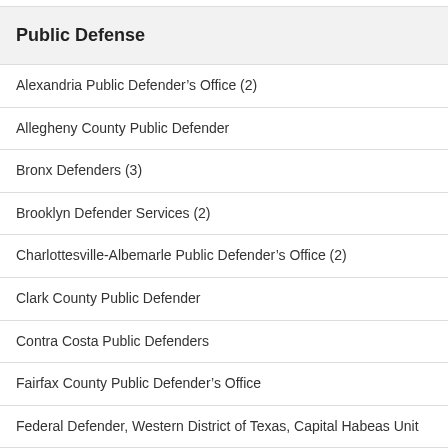Public Defense
Alexandria Public Defender's Office (2)
Allegheny County Public Defender
Bronx Defenders (3)
Brooklyn Defender Services (2)
Charlottesville-Albemarle Public Defender's Office (2)
Clark County Public Defender
Contra Costa Public Defenders
Fairfax County Public Defender's Office
Federal Defender, Western District of Texas, Capital Habeas Unit
King County Department of Public Defense